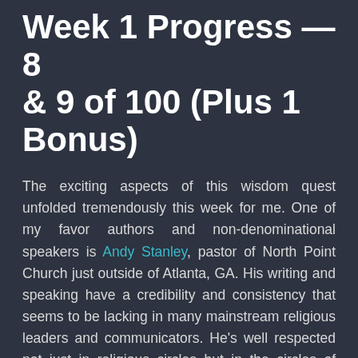Week 1 Progress — 8 & 9 of 100 (Plus 1 Bonus)
The exciting aspects of this wisdom quest unfolded tremendously this week for me. One of my favor authors and non-denominational speakers is Andy Stanley, pastor of North Point Church just outside of Atlanta, GA. His writing and speaking have a credibility and consistency that seems to be lacking in many mainstream religious leaders and communicators. He's well respected not just in religious circles but in the circles of business and leadership too. For these reasons I have begun to build a collection of his works.